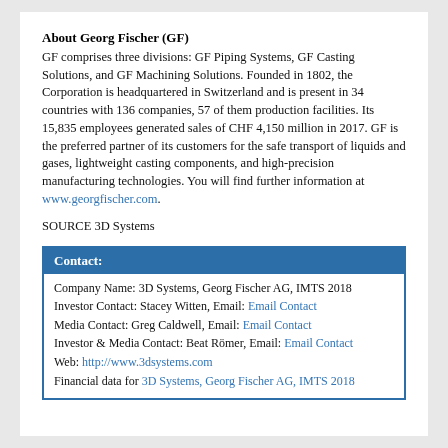About Georg Fischer (GF)
GF comprises three divisions: GF Piping Systems, GF Casting Solutions, and GF Machining Solutions. Founded in 1802, the Corporation is headquartered in Switzerland and is present in 34 countries with 136 companies, 57 of them production facilities. Its 15,835 employees generated sales of CHF 4,150 million in 2017. GF is the preferred partner of its customers for the safe transport of liquids and gases, lightweight casting components, and high-precision manufacturing technologies. You will find further information at www.georgfischer.com.
SOURCE 3D Systems
| Contact: |
| --- |
| Company Name: 3D Systems, Georg Fischer AG, IMTS 2018 |
| Investor Contact: Stacey Witten, Email: Email Contact |
| Media Contact: Greg Caldwell, Email: Email Contact |
| Investor & Media Contact: Beat Römer, Email: Email Contact |
| Web: http://www.3dsystems.com |
| Financial data for 3D Systems, Georg Fischer AG, IMTS 2018 |